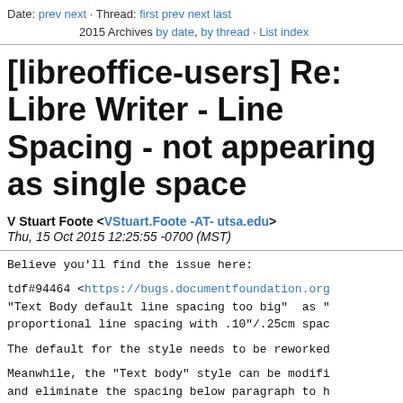Date: prev next · Thread: first prev next last
2015 Archives by date, by thread · List index
[libreoffice-users] Re: Libre Writer - Line Spacing - not appearing as single space
V Stuart Foote <VStuart.Foote -AT- utsa.edu>
Thu, 15 Oct 2015 12:25:55 -0700 (MST)
Believe you'll find the issue here:

tdf#94464 <https://bugs.documentfoundation.org
"Text Body default line spacing too big" as "
proportional line spacing with .10"/.25cm spac

The default for the style needs to be reworked

Meanwhile, the "Text body" style can be modifi
and eliminate the spacing below paragraph to h